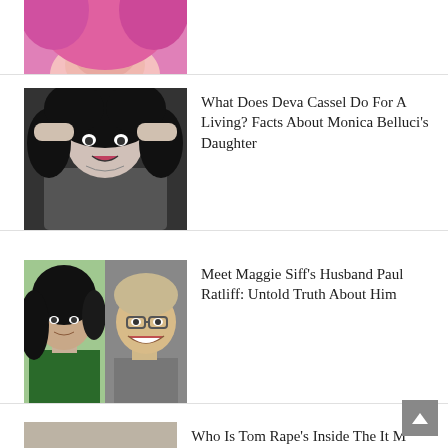[Figure (photo): Partially visible photo of a person with pink hair and pink clothing, cropped at top]
[Figure (photo): Black and white photo of Deva Cassel with curly dark hair, hands on head, looking surprised]
What Does Deva Cassel Do For A Living? Facts About Monica Belluci's Daughter
[Figure (photo): Split photo showing Maggie Siff on the left (woman with dark hair, green top) and Paul Ratliff on the right (man with glasses, smiling)]
Meet Maggie Siff's Husband Paul Ratliff: Untold Truth About Him
[Figure (photo): Partially visible photo at the bottom of the page]
Who Is Tom Rape's Inside The It M From...